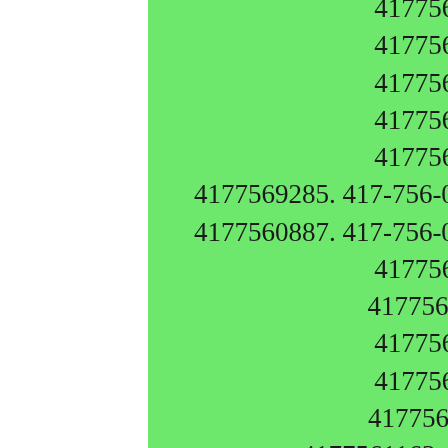4177565364. 417-756-6365 4177566369. 417-756-5845 4177565845. 417-756-8860 4177568860. 417-756-9664 4177569664. 417-756-9285 4177569285. 417-756-0887 Caller Name Identify My Caller 4177560887. 417-756-0251 Caller Name Identify My Caller 4177560251. 417-756-0082 4177560082.  417-756-3788 4177563788. 417-756-9142 4177569142. 417-756-0067 4177560067.  417-756-1163 4177561163. 417-756-1179 4177561179. 417-756-9725 4177569725. 417-756-4662 4177564662. 417-756-5884 4177565884. 417-756-0324 Caller Name Identify My Caller 4177560324. 417-756-7734 4177567734. 417-756-5147 4177565147. 417-756-5434 4177565434. 417-756-6721 4177566721. 417-756-8290 4177568290. 417-756-1422 4177561422. 417-756-0680 Caller Name Identify My Caller 4177560680. 417-756-1122 4177561122. 417-756-8098